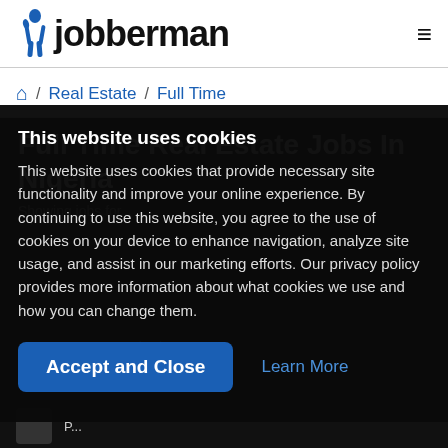Jobberman
/ Real Estate / Full Time
Full Time Real Estate Jobs In Nigeria
This website uses cookies
This website uses cookies that provide necessary site functionality and improve your online experience. By continuing to use this website, you agree to the use of cookies on your device to enhance navigation, analyze site usage, and assist in our marketing efforts. Our privacy policy provides more information about what cookies we use and how you can change them.
Accept and Close
Learn More